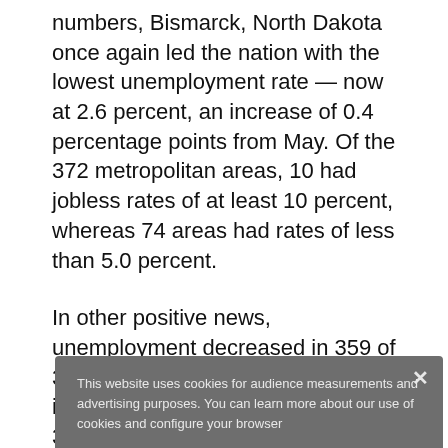numbers, Bismarck, North Dakota once again led the nation with the lowest unemployment rate — now at 2.6 percent, an increase of 0.4 percentage points from May. Of the 372 metropolitan areas, 10 had jobless rates of at least 10 percent, whereas 74 areas had rates of less than 5.0 percent.
In other positive news, unemployment decreased in 359 of 372 metropolitan areas, increased in 10 areas and was unchanged in 3 areas. Additionally, each of the 34 metropolitan divisions
This website uses cookies for audience measurements and advertising purposes. You can learn more about our use of cookies and configure your browser